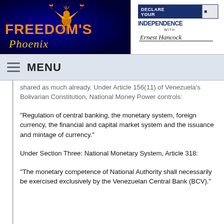[Figure (logo): Freedom's Phoenix logo with golden phoenix bird on blue background with orange and gold text]
[Figure (logo): Declare Your Independence with Ernest Hancock logo, blue and black text on white background with signature]
MENU
shared as much already. Under Article 156(11) of Venezuela's Bolivarian Constitution, National Money Power controls:
"Regulation of central banking, the monetary system, foreign currency, the financial and capital market system and the issuance and mintage of currency."
Under Section Three: National Monetary System, Article 318:
"The monetary competence of National Authority shall necessarily be exercised exclusively by the Venezuelan Central Bank (BCV)."